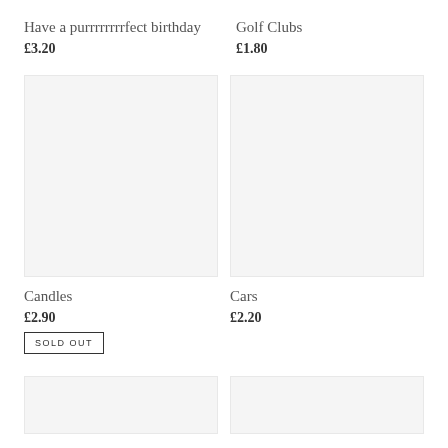Have a purrrrrrrrfect birthday
£3.20
Golf Clubs
£1.80
[Figure (photo): Product image placeholder for Candles, light grey background]
[Figure (photo): Product image placeholder for Cars, light grey background]
Candles
£2.90
SOLD OUT
Cars
£2.20
[Figure (photo): Product image placeholder bottom left, light grey background]
[Figure (photo): Product image placeholder bottom right, light grey background]